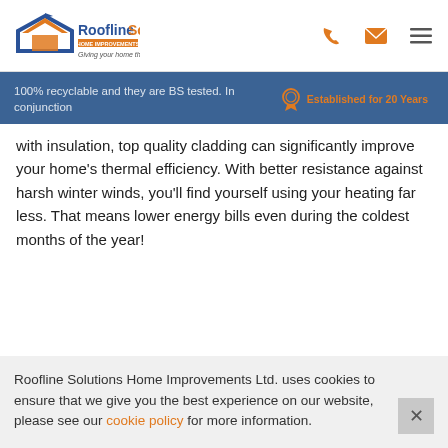Roofline Solutions Home Improvements – Giving your home the edge
100% recyclable and they are BS tested. In conjunction with insulation, top quality cladding can significantly improve your home's thermal efficiency. With better resistance against harsh winter winds, you'll find yourself using your heating far less. That means lower energy bills even during the coldest months of the year!
Roofline Solutions Home Improvements Ltd. uses cookies to ensure that we give you the best experience on our website, please see our cookie policy for more information.